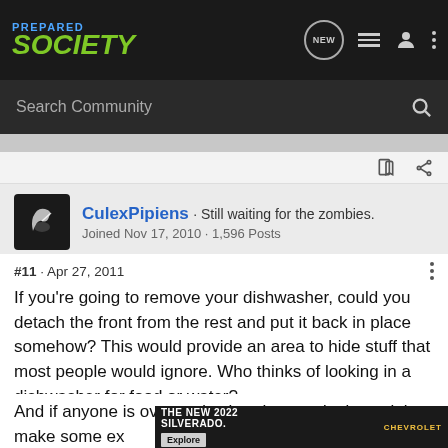PREPARED SOCIETY
Search Community
CulexPipiens · Still waiting for the zombies. Joined Nov 17, 2010 · 1,596 Posts
#11 · Apr 27, 2011
If you're going to remove your dishwasher, could you detach the front from the rest and put it back in place somehow? This would provide an area to hide stuff that most people would ignore. Who thinks of looking in a dishwasher for food or water?
And if anyone is over and asks why you don't use it just make some ex... en around t... ocked"
[Figure (screenshot): Chevrolet Silverado 2022 advertisement banner showing truck in field with 'THE NEW 2022 SILVERADO.' text and Explore button]